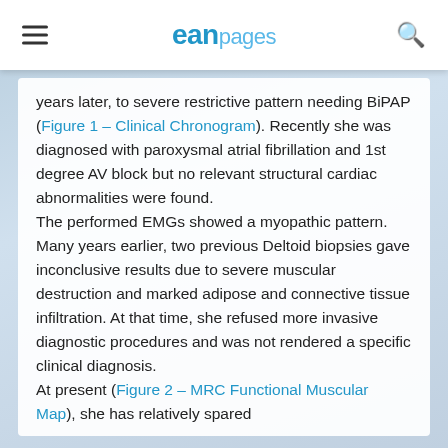ean pages
years later, to severe restrictive pattern needing BiPAP (Figure 1 – Clinical Chronogram). Recently she was diagnosed with paroxysmal atrial fibrillation and 1st degree AV block but no relevant structural cardiac abnormalities were found.
The performed EMGs showed a myopathic pattern. Many years earlier, two previous Deltoid biopsies gave inconclusive results due to severe muscular destruction and marked adipose and connective tissue infiltration. At that time, she refused more invasive diagnostic procedures and was not rendered a specific clinical diagnosis.
At present (Figure 2 – MRC Functional Muscular Map), she has relatively spared